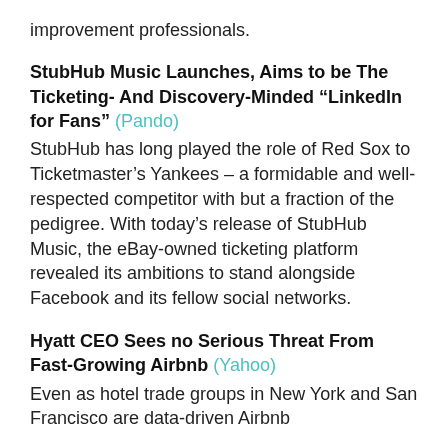improvement professionals.
StubHub Music Launches, Aims to be The Ticketing- And Discovery-Minded “LinkedIn for Fans” (Pando)
StubHub has long played the role of Red Sox to Ticketmaster’s Yankees – a formidable and well-respected competitor with but a fraction of the pedigree. With today’s release of StubHub Music, the eBay-owned ticketing platform revealed its ambitions to stand alongside Facebook and its fellow social networks.
Hyatt CEO Sees no Serious Threat From Fast-Growing Airbnb (Yahoo)
Even as hotel trade groups in New York and San Francisco are data-driven Airbnb